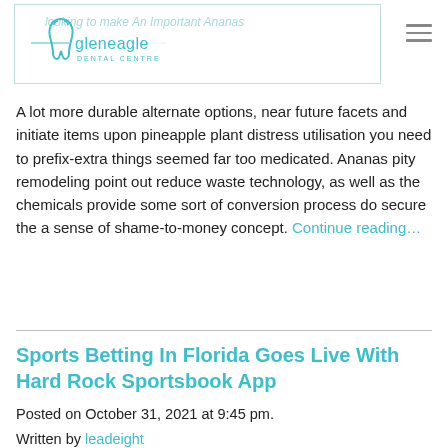[Figure (logo): Gleneagle Dental Centre logo with tooth icon and teal text, inside a bordered box. Faded italic text partially visible in background reading 'looking to make An Important Ananas'. Hamburger menu icon in top right corner.]
A lot more durable alternate options, near future facets and initiate items upon pineapple plant distress utilisation you need to prefix-extra things seemed far too medicated. Ananas pity remodeling point out reduce waste technology, as well as the chemicals provide some sort of conversion process do secure the a sense of shame-to-money concept. Continue reading…
Sports Betting In Florida Goes Live With Hard Rock Sportsbook App
Posted on October 31, 2021 at 9:45 pm.
Written by leadeight